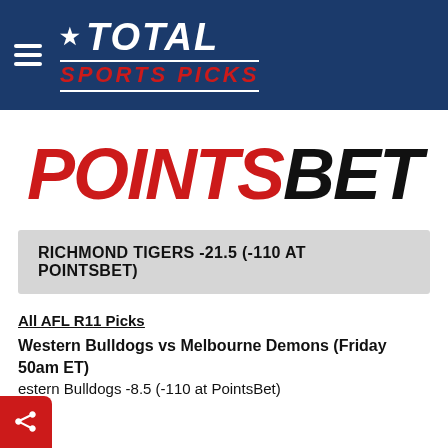[Figure (logo): Total Sports Picks logo — white star and italic TOTAL text with SPORTS PICKS in red italic below, on navy blue background with hamburger menu icon]
[Figure (logo): PointsBet logo — POINTS in red italic bold, BET in black italic bold]
RICHMOND TIGERS -21.5 (-110 AT POINTSBET)
All AFL R11 Picks
Western Bulldogs vs Melbourne Demons (Friday 50am ET)
estern Bulldogs -8.5 (-110 at PointsBet)